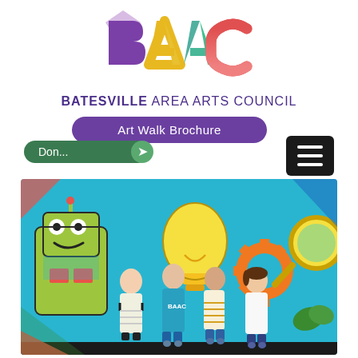[Figure (logo): BAAC colorful logo with large letters B, A, A, C in purple, yellow/orange, teal/green, and red/pink colors]
BATESVILLE AREA ARTS COUNCIL
Art Walk Brochure
Don...
[Figure (photo): Four women standing in front of a colorful mural featuring a robot, light bulbs, gears, a magnifying glass, and other educational/creative imagery on a teal background]